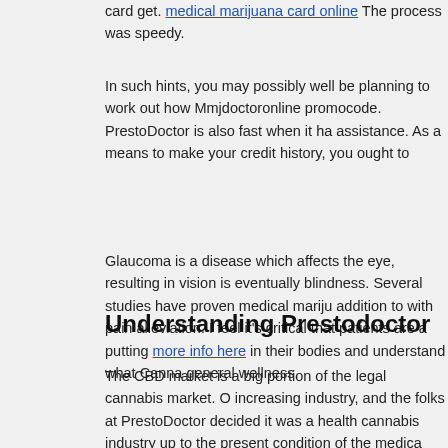card get. medical marijuana card online The process was speedy.
In such hints, you may possibly well be planning to work out how Mmjdoctoronline promocode. PrestoDoctor is also fast when it ha assistance. As a means to make your credit history, you ought to
Glaucoma is a disease which affects the eye, resulting in vision is eventually blindness. Several studies have proven medical mariju addition to with pain alleviation. I feel it's critical that patients are putting more info here in their bodies and understand what Canna general wellness.
Understanding Prestodoctor
The CBD market is a big portion of the legal cannabis market. O increasing industry, and the folks at PrestoDoctor decided it was health cannabis industry up to the present condition of the medic some businesses scrutinize the health component of cannabis an could have, others offer marijuana harvesters and sellers with the equipment.